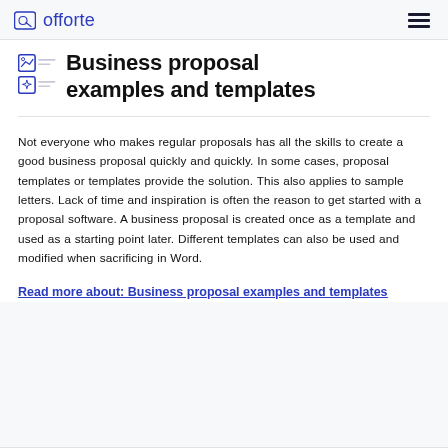offorte
Business proposal examples and templates
Not everyone who makes regular proposals has all the skills to create a good business proposal quickly and quickly. In some cases, proposal templates or templates provide the solution. This also applies to sample letters. Lack of time and inspiration is often the reason to get started with a proposal software. A business proposal is created once as a template and used as a starting point later. Different templates can also be used and modified when sacrificing in Word.
Read more about: Business proposal examples and templates